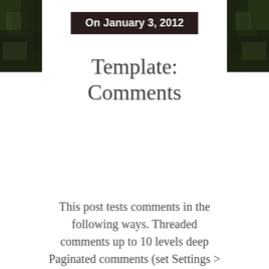[Figure (photo): Decorative dark green/brown foliage image strip on the left side]
[Figure (photo): Decorative dark green/brown foliage image strip on the right side]
On January 3, 2012
Template: Comments
This post tests comments in the following ways. Threaded comments up to 10 levels deep Paginated comments (set Settings > Discussion > Break comments into pages to 5 top level comments per page) Comment markup / formatting Comment images Comment videos Author comments Gravatars